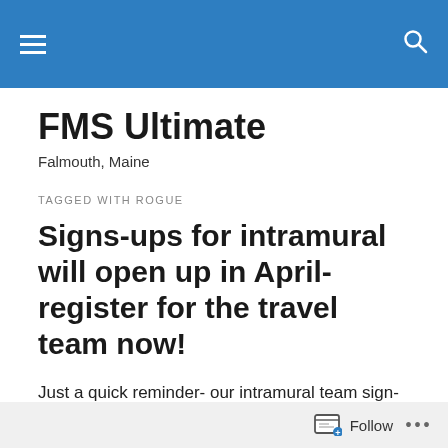FMS Ultimate – navigation header bar
FMS Ultimate
Falmouth, Maine
TAGGED WITH ROGUE
Signs-ups for intramural will open up in April- register for the travel team now!
Just a quick reminder- our intramural team sign-ups will be open in April, with intramural play to begin in May, as soon
Follow •••